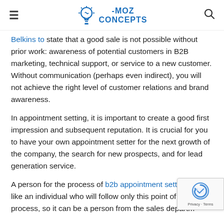MOZ CONCEPTS
Belkins to state that a good sale is not possible without prior work: awareness of potential customers in B2B marketing, technical support, or service to a new customer. Without communication (perhaps even indirect), you will not achieve the right level of customer relations and brand awareness.
In appointment setting, it is important to create a good first impression and subsequent reputation. It is crucial for you to have your own appointment setter for the next growth of the company, the search for new prospects, and for lead generation service.
A person for the process of b2b appointment setting can be like an individual who will follow only this point of the process, so it can be a person from the sales departm...